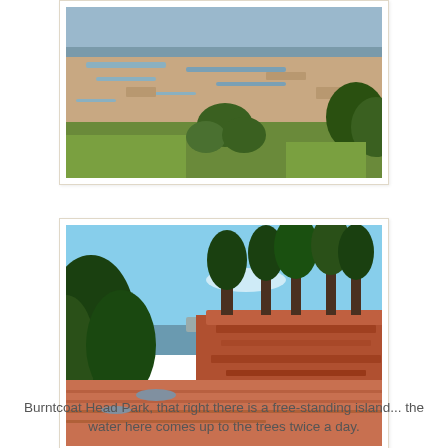[Figure (photo): Coastal tidal flat landscape viewed from grassy hillside with shrubs and trees in foreground, wide expanse of mudflats and shallow water channels stretching to distant hills under blue sky]
[Figure (photo): Burntcoat Head Park showing red sandstone cliffs topped with conifer trees, red sandy tidal flats in foreground, ocean and distant landmass visible in background under clear blue sky]
Burntcoat Head Park, that right there is a free-standing island... the water here comes up to the trees twice a day.